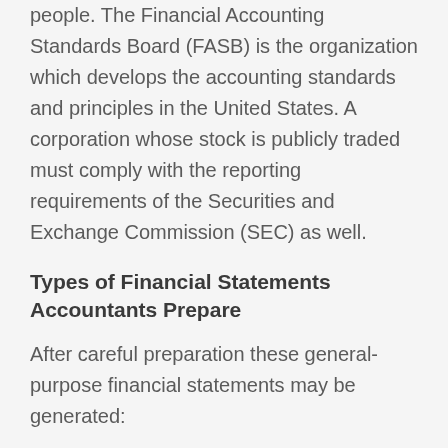people. The Financial Accounting Standards Board (FASB) is the organization which develops the accounting standards and principles in the United States. A corporation whose stock is publicly traded must comply with the reporting requirements of the Securities and Exchange Commission (SEC) as well.
Types of Financial Statements Accountants Prepare
After careful preparation these general-purpose financial statements may be generated:
Income statement also known as an earnings statement or profit and loss statement (P&L)